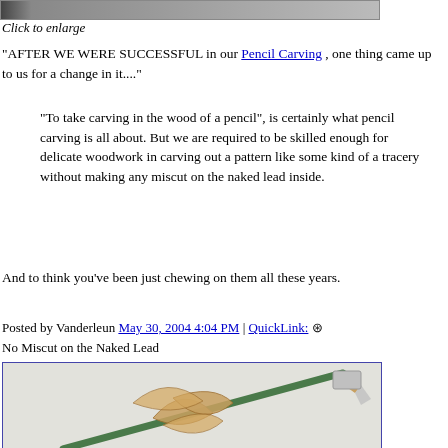[Figure (photo): Top portion of a pencil carving image, partially visible at top of page]
Click to enlarge
"AFTER WE WERE SUCCESSFUL in our Pencil Carving , one thing came up to us for a change in it...."
"To take carving in the wood of a pencil", is certainly what pencil carving is all about. But we are required to be skilled enough for delicate woodwork in carving out a pattern like some kind of a tracery without making any miscut on the naked lead inside.
And to think you've been just chewing on them all these years.
Posted by Vanderleun May 30, 2004 4:04 PM | QuickLink: ⊕
No Miscut on the Naked Lead
[Figure (photo): Photo of a carved pencil shaped like a dragonfly or similar insect, with pencil tip visible, against a light background]